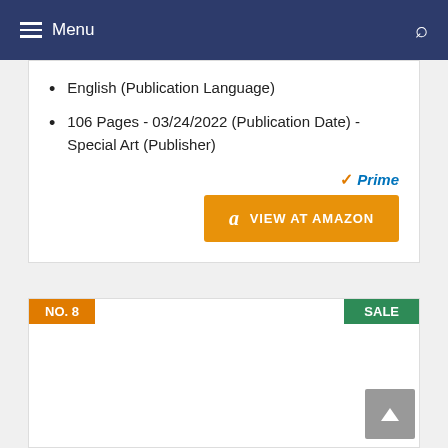Menu
English (Publication Language)
106 Pages - 03/24/2022 (Publication Date) - Special Art (Publisher)
[Figure (other): Amazon Prime badge and VIEW AT AMAZON orange button]
NO. 8
SALE